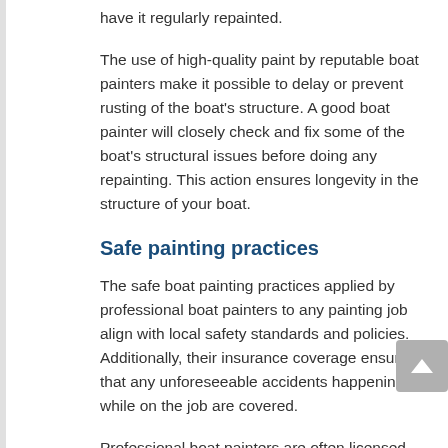have it regularly repainted.
The use of high-quality paint by reputable boat painters make it possible to delay or prevent rusting of the boat's structure. A good boat painter will closely check and fix some of the boat's structural issues before doing any repainting. This action ensures longevity in the structure of your boat.
Safe painting practices
The safe boat painting practices applied by professional boat painters to any painting job align with local safety standards and policies. Additionally, their insurance coverage ensures that any unforeseeable accidents happening while on the job are covered.
Professional boat painters are often licensed and certified by a local state. The license or certificate allows them to practice their trade in every local marina. It's best to ask potential boat painters for their certificates, licenses, or insurance coverage before hiring their